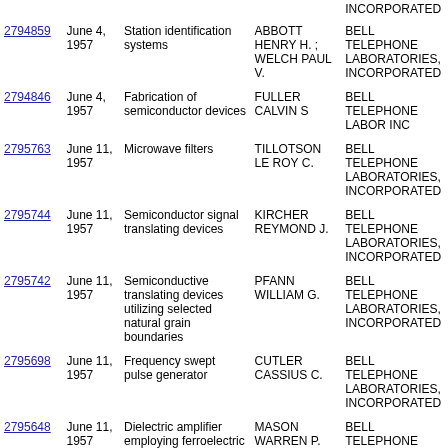| Patent No. | Date | Title | Inventor(s) | Assignee |
| --- | --- | --- | --- | --- |
|  |  |  |  | INCORPORATED |
| 2794859 | June 4, 1957 | Station identification systems | ABBOTT HENRY H. ; WELCH PAUL V. | BELL TELEPHONE LABORATORIES, INCORPORATED |
| 2794846 | June 4, 1957 | Fabrication of semiconductor devices | FULLER CALVIN S | BELL TELEPHONE LABOR INC |
| 2795763 | June 11, 1957 | Microwave filters | TILLOTSON LE ROY C. | BELL TELEPHONE LABORATORIES, INCORPORATED |
| 2795744 | June 11, 1957 | Semiconductor signal translating devices | KIRCHER REYMOND J. | BELL TELEPHONE LABORATORIES, INCORPORATED |
| 2795742 | June 11, 1957 | Semiconductive translating devices utilizing selected natural grain boundaries | PFANN WILLIAM G. | BELL TELEPHONE LABORATORIES, INCORPORATED |
| 2795698 | June 11, 1957 | Frequency swept pulse generator | CUTLER CASSIUS C. | BELL TELEPHONE LABORATORIES, INCORPORATED |
| 2795648 | June 11, 1957 | Dielectric amplifier employing ferroelectric materials | MASON WARREN P. | BELL TELEPHONE LABORATORIES, INCORPORATED |